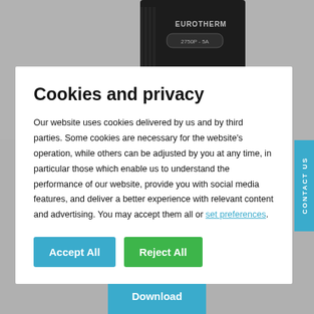[Figure (photo): Eurotherm 2750P-5A industrial power controller device, black rectangular unit shown from top and bottom, with a Download button below]
Cookies and privacy
Our website uses cookies delivered by us and by third parties. Some cookies are necessary for the website's operation, while others can be adjusted by you at any time, in particular those which enable us to understand the performance of our website, provide you with social media features, and deliver a better experience with relevant content and advertising. You may accept them all or set preferences.
Accept All
Reject All